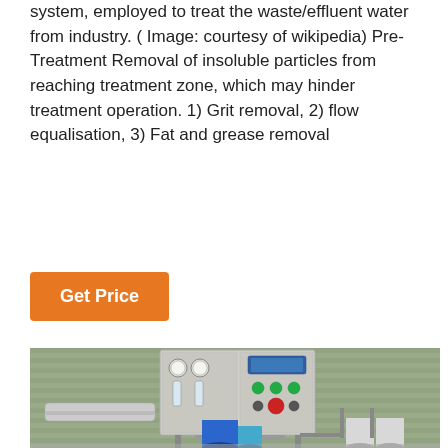system, employed to treat the waste/effluent water from industry. ( Image: courtesy of wikipedia) Pre-Treatment Removal of insoluble particles from reaching treatment zone, which may hinder treatment operation. 1) Grit removal, 2) flow equalisation, 3) Fat and grease removal
[Figure (other): Orange 'Get Price' button]
[Figure (photo): Industrial water treatment system with a control panel showing pressure gauges, flow meters, green and red indicator buttons, and a blue digital display. Below the panel are blue cylindrical filter tanks and piping components in an industrial facility.]